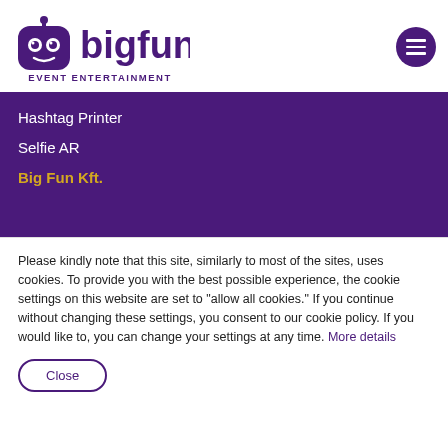[Figure (logo): Big Fun Event Entertainment logo — purple robot mascot icon with the text 'bigfun' in purple and 'EVENT ENTERTAINMENT' below in purple caps]
Hashtag Printer
Selfie AR
Big Fun Kft.
Please kindly note that this site, similarly to most of the sites, uses cookies. To provide you with the best possible experience, the cookie settings on this website are set to "allow all cookies." If you continue without changing these settings, you consent to our cookie policy. If you would like to, you can change your settings at any time. More details
Close